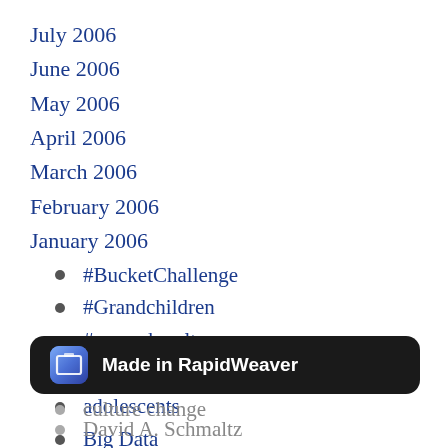July 2006
June 2006
May 2006
April 2006
March 2006
February 2006
January 2006
#BucketChallenge
#Grandchildren
#pureschmaltz
#Writing
adolescents
Big Data
BriefConsulting
[Figure (screenshot): Made in RapidWeaver badge — dark rounded rectangle with app icon and text]
culture change
David A. Schmaltz